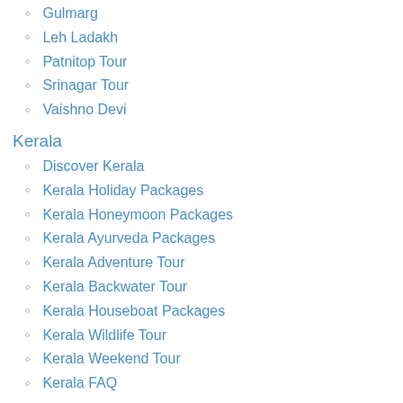Gulmarg
Leh Ladakh
Patnitop Tour
Srinagar Tour
Vaishno Devi
Kerala
Discover Kerala
Kerala Holiday Packages
Kerala Honeymoon Packages
Kerala Ayurveda Packages
Kerala Adventure Tour
Kerala Backwater Tour
Kerala Houseboat Packages
Kerala Wildlife Tour
Kerala Weekend Tour
Kerala FAQ
Punjab
Amritsar
Chandigarh
Rajasthan